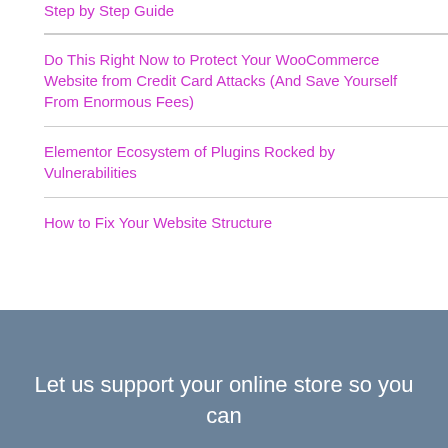Step by Step Guide
Do This Right Now to Protect Your WooCommerce Website from Credit Card Attacks (And Save Yourself From Enormous Fees)
Elementor Ecosystem of Plugins Rocked by Vulnerabilities
How to Fix Your Website Structure
Let us support your online store so you can